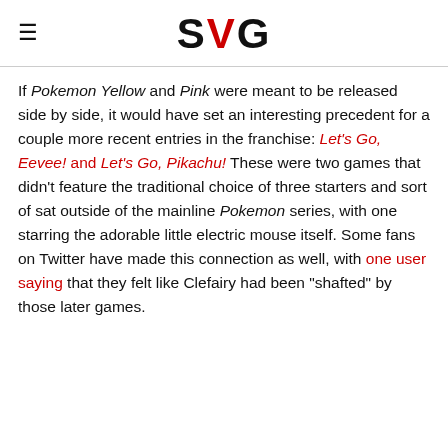SVG
If Pokemon Yellow and Pink were meant to be released side by side, it would have set an interesting precedent for a couple more recent entries in the franchise: Let's Go, Eevee! and Let's Go, Pikachu! These were two games that didn't feature the traditional choice of three starters and sort of sat outside of the mainline Pokemon series, with one starring the adorable little electric mouse itself. Some fans on Twitter have made this connection as well, with one user saying that they felt like Clefairy had been "shafted" by those later games.